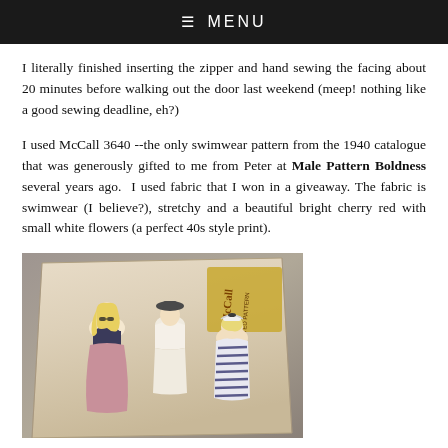≡ MENU
I literally finished inserting the zipper and hand sewing the facing about 20 minutes before walking out the door last weekend (meep! nothing like a good sewing deadline, eh?)
I used McCall 3640 --the only swimwear pattern from the 1940 catalogue that was generously gifted to me from Peter at Male Pattern Boldness several years ago. I used fabric that I won in a giveaway. The fabric is swimwear (I believe?), stretchy and a beautiful bright cherry red with small white flowers (a perfect 40s style print).
[Figure (photo): A vintage McCall sewing pattern envelope showing three women in 1940s swimwear/beachwear, placed on a grey fabric background.]